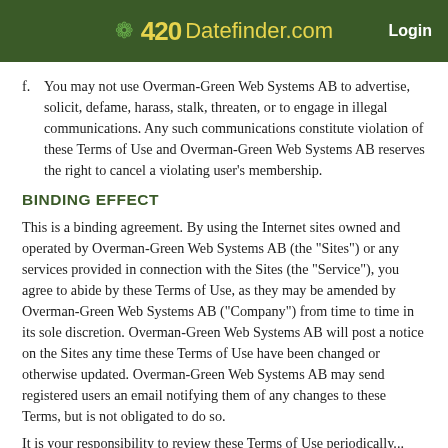420Datefinder.com   Login
f.  You may not use Overman-Green Web Systems AB to advertise, solicit, defame, harass, stalk, threaten, or to engage in illegal communications. Any such communications constitute violation of these Terms of Use and Overman-Green Web Systems AB reserves the right to cancel a violating user's membership.
BINDING EFFECT
This is a binding agreement. By using the Internet sites owned and operated by Overman-Green Web Systems AB (the "Sites") or any services provided in connection with the Sites (the "Service"), you agree to abide by these Terms of Use, as they may be amended by Overman-Green Web Systems AB ("Company") from time to time in its sole discretion. Overman-Green Web Systems AB will post a notice on the Sites any time these Terms of Use have been changed or otherwise updated. Overman-Green Web Systems AB may send registered users an email notifying them of any changes to these Terms, but is not obligated to do so.
It is your responsibility to review these Terms of Use periodically...